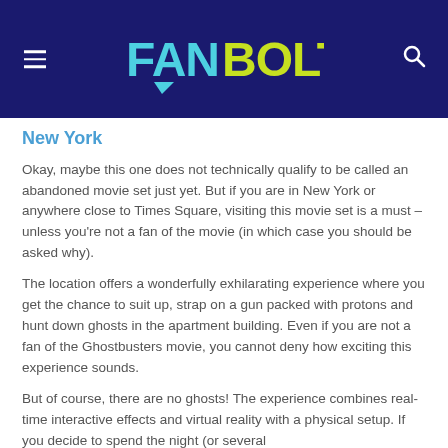FanBolt
New York
Okay, maybe this one does not technically qualify to be called an abandoned movie set just yet. But if you are in New York or anywhere close to Times Square, visiting this movie set is a must – unless you're not a fan of the movie (in which case you should be asked why).
The location offers a wonderfully exhilarating experience where you get the chance to suit up, strap on a gun packed with protons and hunt down ghosts in the apartment building. Even if you are not a fan of the Ghostbusters movie, you cannot deny how exciting this experience sounds.
But of course, there are no ghosts! The experience combines real-time interactive effects and virtual reality with a physical setup. If you decide to spend the night (or several...